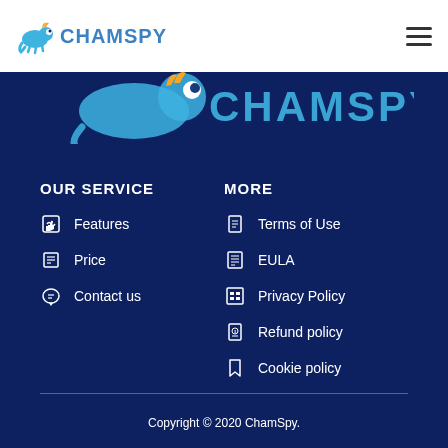CHAMSPY
[Figure (logo): ChamSpy large logo with chameleon icon partially visible on dark blue background]
OUR SERVICE
Features
Price
Contact us
MORE
Terms of Use
EULA
Privacy Policy
Refund policy
Cookie policy
Copyright © 2020 ChamSpy.